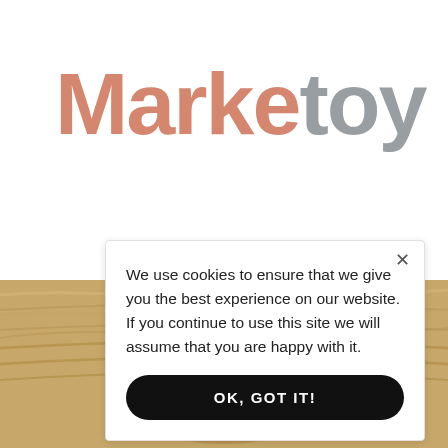[Figure (logo): Marketoy logo with 'Marke' in salmon/coral color and 'toy' in gray]
[Figure (photo): Aerial view of a wheat field with a tractor/harvester in the lower center]
We use cookies to ensure that we give you the best experience on our website. If you continue to use this site we will assume that you are happy with it.
OK, GOT IT!